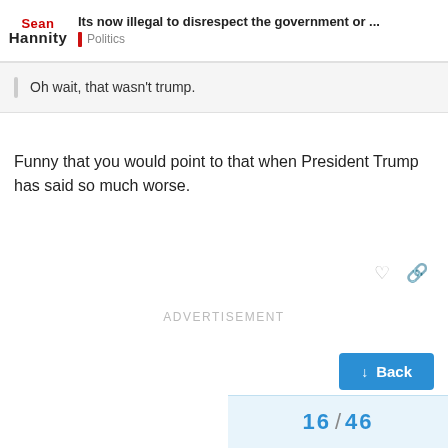Its now illegal to disrespect the government or ... | Politics | Sean Hannity
Oh wait, that wasn't trump.
Funny that you would point to that when President Trump has said so much worse.
ADVERTISEMENT
Back
16 / 46